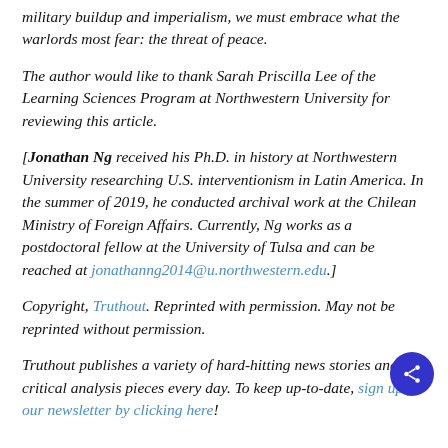military buildup and imperialism, we must embrace what the warlords most fear: the threat of peace.
The author would like to thank Sarah Priscilla Lee of the Learning Sciences Program at Northwestern University for reviewing this article.
[Jonathan Ng received his Ph.D. in history at Northwestern University researching U.S. interventionism in Latin America. In the summer of 2019, he conducted archival work at the Chilean Ministry of Foreign Affairs. Currently, Ng works as a postdoctoral fellow at the University of Tulsa and can be reached at jonathanng2014@u.northwestern.edu.]
Copyright, Truthout. Reprinted with permission. May not be reprinted without permission.
Truthout publishes a variety of hard-hitting news stories and critical analysis pieces every day. To keep up-to-date, sign up for our newsletter by clicking here!